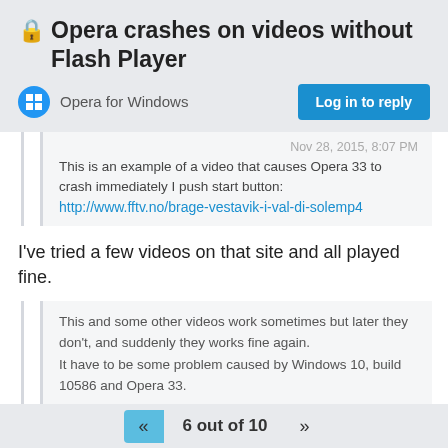Opera crashes on videos without Flash Player
Opera for Windows
Log in to reply
Nov 28, 2015, 8:07 PM
This is an example of a video that causes Opera 33 to crash immediately I push start button: http://www.fftv.no/brage-vestavik-i-val-di-solemp4
I've tried a few videos on that site and all played fine.
This and some other videos work sometimes but later they don't, and suddenly they works fine again.
It have to be some problem caused by Windows 10, build 10586 and Opera 33.
Do you use any extensions? If so, have you tried with them disabled?
6 out of 10